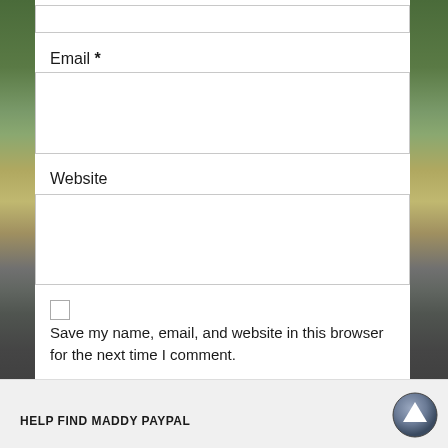Email *
Website
Save my name, email, and website in this browser for the next time I comment.
Post Comment
HELP FIND MADDY PAYPAL